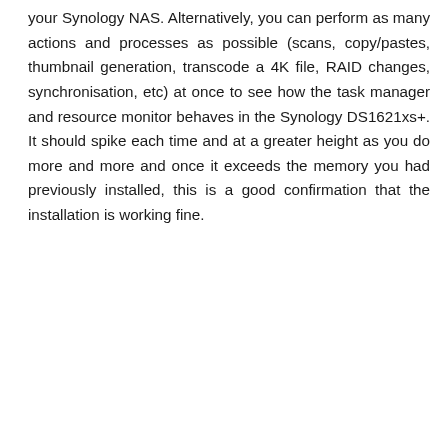your Synology NAS. Alternatively, you can perform as many actions and processes as possible (scans, copy/pastes, thumbnail generation, transcode a 4K file, RAID changes, synchronisation, etc) at once to see how the task manager and resource monitor behaves in the Synology DS1621xs+. It should spike each time and at a greater height as you do more and more and once it exceeds the memory you had previously installed, this is a good confirmation that the installation is working fine.